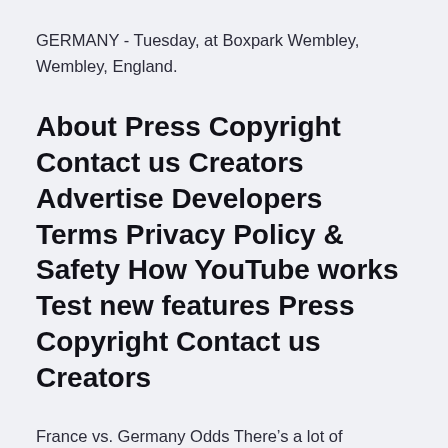GERMANY - Tuesday, at Boxpark Wembley, Wembley, England.
About Press Copyright Contact us Creators Advertise Developers Terms Privacy Policy & Safety How YouTube works Test new features Press Copyright Contact us Creators
France vs. Germany Odds There’s a lot of firepower on both squads, so the Over 2.5 goals at +106 Euro 2020 8/1 Bet Builder: France vs Germany. Min deposit €10, minimum wagering on sport €20, req qualifying bets at minimum bet 1/1, offer valid for 14 days only. 07-2021